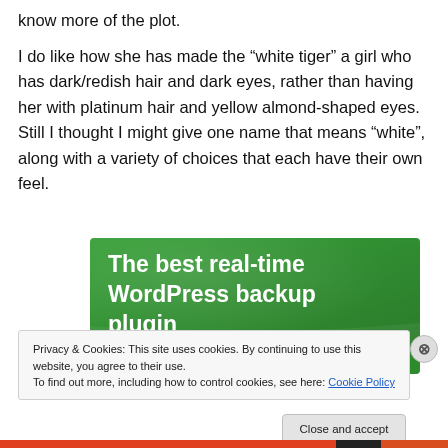know more of the plot.
I do like how she has made the “white tiger” a girl who has dark/redish hair and dark eyes, rather than having her with platinum hair and yellow almond-shaped eyes. Still I thought I might give one name that means “white”, along with a variety of choices that each have their own feel.
[Figure (screenshot): Green advertisement banner reading 'The best real-time WordPress backup plugin' in bold white text on a green background.]
Privacy & Cookies: This site uses cookies. By continuing to use this website, you agree to their use.
To find out more, including how to control cookies, see here: Cookie Policy
Close and accept